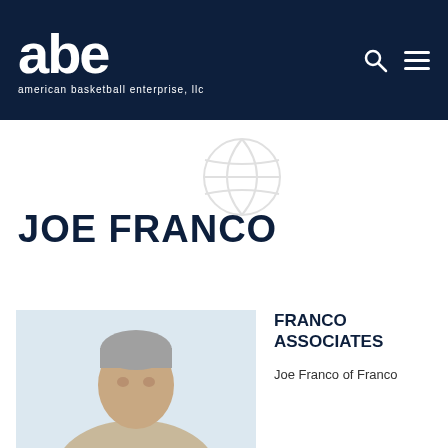[Figure (logo): ABE (American Basketball Enterprise, LLC) logo — large white 'abe' letters with tagline 'american basketball enterprise, llc' on dark navy background. Search and hamburger menu icons in top right.]
[Figure (illustration): Faint grey basketball watermark/icon in center of white content area]
JOE FRANCO
[Figure (photo): Headshot photo of Joe Franco, a middle-aged man with grey hair]
FRANCO ASSOCIATES
Joe Franco of Franco